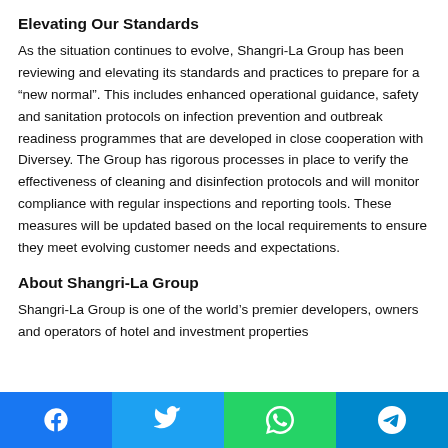Elevating Our Standards
As the situation continues to evolve, Shangri-La Group has been reviewing and elevating its standards and practices to prepare for a “new normal”. This includes enhanced operational guidance, safety and sanitation protocols on infection prevention and outbreak readiness programmes that are developed in close cooperation with Diversey. The Group has rigorous processes in place to verify the effectiveness of cleaning and disinfection protocols and will monitor compliance with regular inspections and reporting tools. These measures will be updated based on the local requirements to ensure they meet evolving customer needs and expectations.
About Shangri-La Group
Shangri-La Group is one of the world’s premier developers, owners and operators of hotel and investment properties
[Figure (other): Social media share buttons bar: Facebook (blue), Twitter (light blue), WhatsApp (green), Telegram (cyan/blue)]